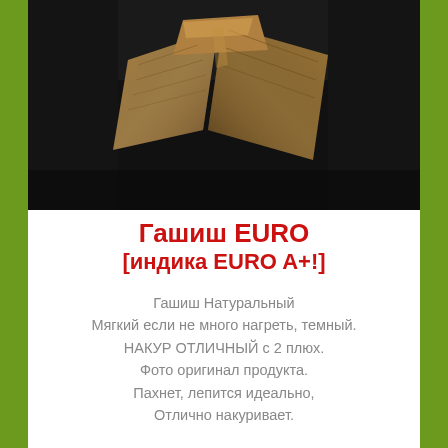[Figure (photo): Close-up photograph of dark metallic/bronze triangular hashish blocks on a dark surface]
Гашиш EURO [индика EURO A+!]
Гашиш Натуральный
Мягкий если не много нагреть, темный.
НАКУР ОТЛИЧНЫЙ с 2 плюх.
Фото оригинал продукта.
Пахнет, лепится идеально,
Отлично накуривает.